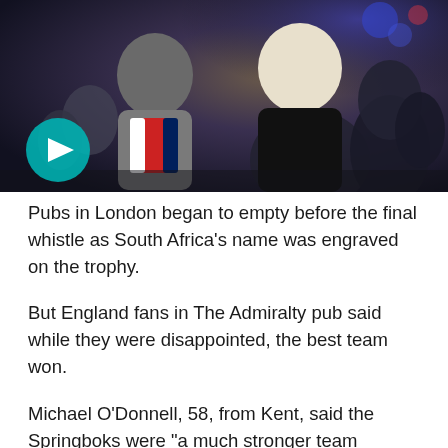[Figure (photo): England rugby fans in a pub watching the Rugby World Cup final, looking disappointed as South Africa wins. Several fans visible including one in an England rugby shirt.]
Pubs in London began to empty before the final whistle as South Africa's name was engraved on the trophy.
But England fans in The Admiralty pub said while they were disappointed, the best team won.
Michael O'Donnell, 58, from Kent, said the Springboks were "a much stronger team physically" on the day.
"While I'm disappointed with the result nothing fell England's way and they deserved the game," he said.
"Last week we were outstanding and this week there was